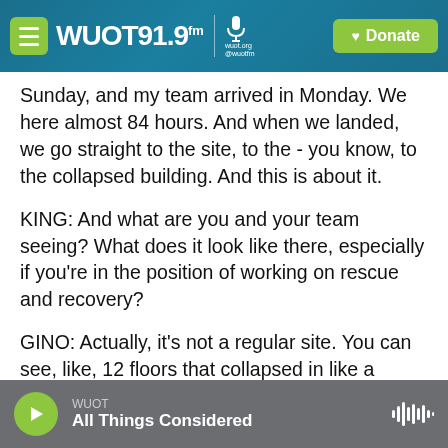[Figure (screenshot): WUOT 91.9 FM radio station website header with logo, menu button, and green Donate button on teal/blue background]
Sunday, and my team arrived in Monday. We here almost 84 hours. And when we landed, we go straight to the site, to the - you know, to the collapsed building. And this is about it.
KING: And what are you and your team seeing? What does it look like there, especially if you're in the position of working on rescue and recovery?
GINO: Actually, it's not a regular site. You can see, like, 12 floors that collapsed in like a pancake, OK? There is almost - there is no spaces inside there because the walls - there is no walls and floors.
[Figure (screenshot): Audio player bar at bottom showing WUOT All Things Considered with green play button and waveform icon]